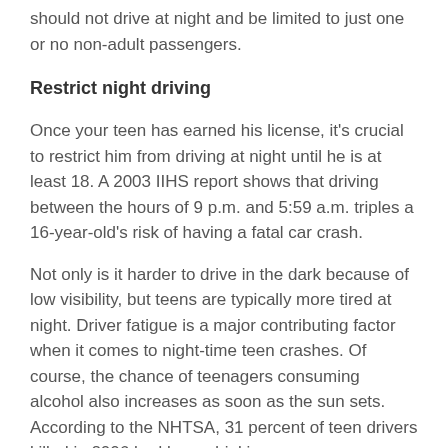should not drive at night and be limited to just one or no non-adult passengers.
Restrict night driving
Once your teen has earned his license, it's crucial to restrict him from driving at night until he is at least 18. A 2003 IIHS report shows that driving between the hours of 9 p.m. and 5:59 a.m. triples a 16-year-old's risk of having a fatal car crash.
Not only is it harder to drive in the dark because of low visibility, but teens are typically more tired at night. Driver fatigue is a major contributing factor when it comes to night-time teen crashes. Of course, the chance of teenagers consuming alcohol also increases as soon as the sun sets. According to the NHTSA, 31 percent of teen drivers killed in 2006 had been drinking.